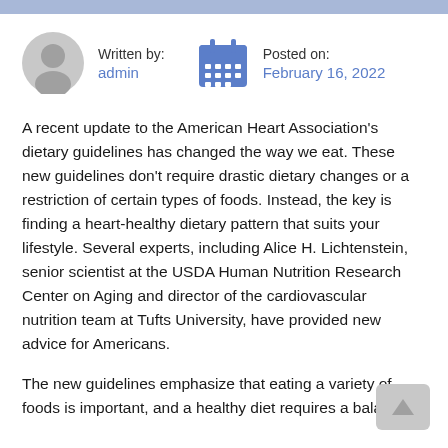Written by: admin   Posted on: February 16, 2022
A recent update to the American Heart Association's dietary guidelines has changed the way we eat. These new guidelines don't require drastic dietary changes or a restriction of certain types of foods. Instead, the key is finding a heart-healthy dietary pattern that suits your lifestyle. Several experts, including Alice H. Lichtenstein, senior scientist at the USDA Human Nutrition Research Center on Aging and director of the cardiovascular nutrition team at Tufts University, have provided new advice for Americans.
The new guidelines emphasize that eating a variety of foods is important, and a healthy diet requires a balance